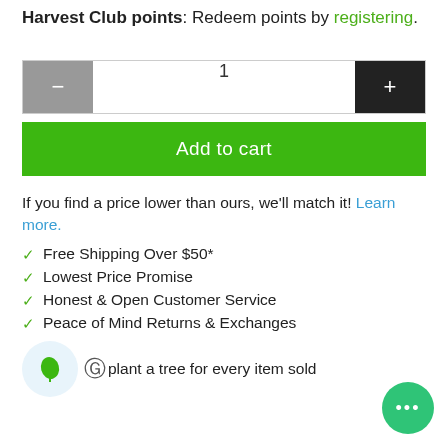Harvest Club points: Redeem points by registering.
1
Add to cart
If you find a price lower than ours, we'll match it! Learn more.
✓ Free Shipping Over $50*
✓ Lowest Price Promise
✓ Honest & Open Customer Service
✓ Peace of Mind Returns & Exchanges
We plant a tree for every item sold